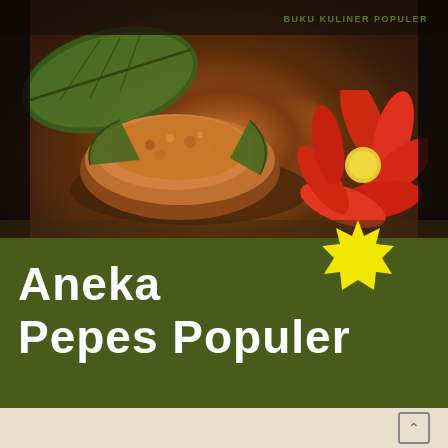BUKU KULINER POPULER
[Figure (photo): Photograph of Indonesian pepes dish (steamed food wrapped in banana leaves) with red chili peppers/flowers as garnish, set on dark background]
Aneka Pepes Populer
[Figure (other): Yellow starburst badge with small text: Dilengkapi dengan foto step by step]